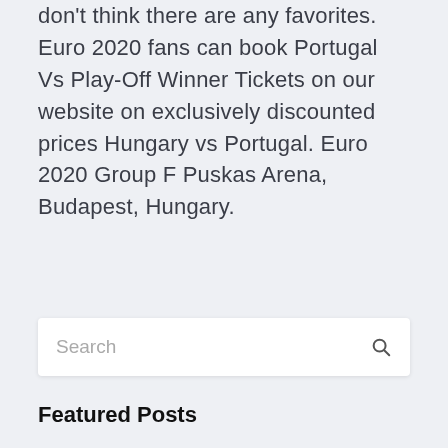don't think there are any favorites. Euro 2020 fans can book Portugal Vs Play-Off Winner Tickets on our website on exclusively discounted prices Hungary vs Portugal. Euro 2020 Group F Puskas Arena, Budapest, Hungary.
Search
Featured Posts